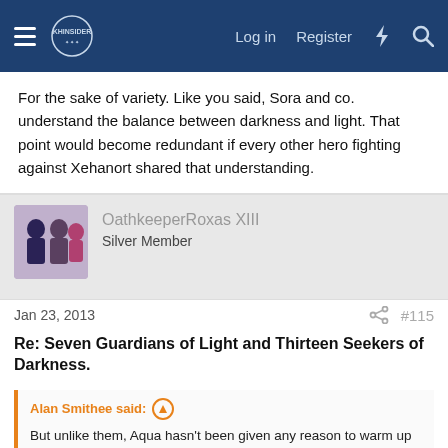KHInsider forum navigation bar with Log in, Register, and search icons
For the sake of variety. Like you said, Sora and co. understand the balance between darkness and light. That point would become redundant if every other hero fighting against Xehanort shared that understanding.
OathkeeperRoxas XIII
Silver Member
Jan 23, 2013  #115
Re: Seven Guardians of Light and Thirteen Seekers of Darkness.
Alan Smithee said: ↑
But unlike them, Aqua hasn't been given any reason to warm up to Darkness (at least, not that we've seen, according to Adrian), and in fact likely despises it even more than in BBS (according to Ruran).